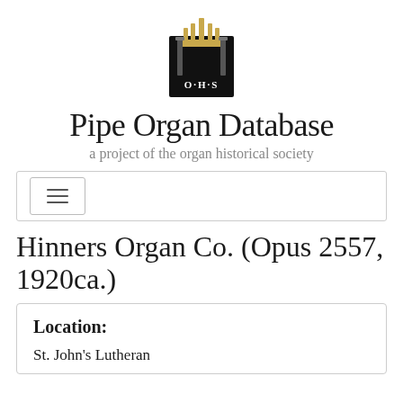[Figure (logo): OHS Organ Historical Society logo — pipe organ image above text 'O·H·S' on a black rectangular badge]
Pipe Organ Database
a project of the organ historical society
[Figure (screenshot): Navigation bar with hamburger menu button (three horizontal lines) inside a bordered rectangle]
Hinners Organ Co. (Opus 2557, 1920ca.)
| Location: |
| --- |
| St. John's Lutheran |